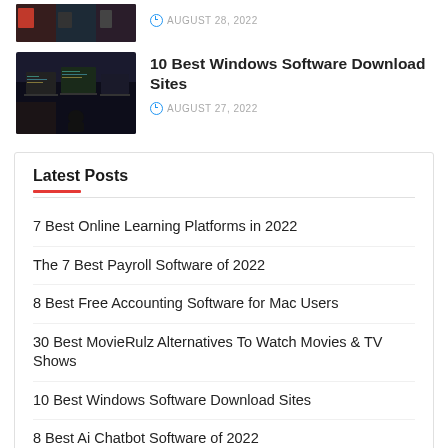[Figure (photo): Partial thumbnail image at top, cropped, dark background]
AUGUST 28, 2022
[Figure (photo): Person sitting at desk with multiple monitor screens showing code]
10 Best Windows Software Download Sites
AUGUST 27, 2022
Latest Posts
7 Best Online Learning Platforms in 2022
The 7 Best Payroll Software of 2022
8 Best Free Accounting Software for Mac Users
30 Best MovieRulz Alternatives To Watch Movies & TV Shows
10 Best Windows Software Download Sites
8 Best Ai Chatbot Software of 2022